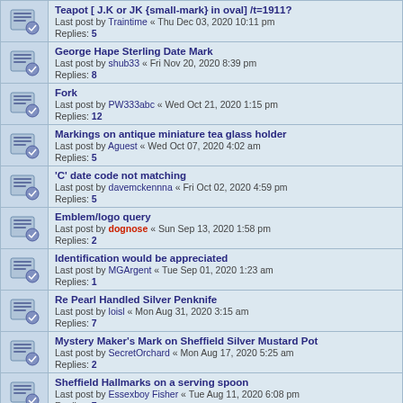Teapot [ J.K  or  JK  {small-mark} in oval] /t=1911?
Last post by Traintime « Thu Dec 03, 2020 10:11 pm
Replies: 5
George Hape Sterling Date Mark
Last post by shub33 « Fri Nov 20, 2020 8:39 pm
Replies: 8
Fork
Last post by PW333abc « Wed Oct 21, 2020 1:15 pm
Replies: 12
Markings on antique miniature tea glass holder
Last post by Aguest « Wed Oct 07, 2020 4:02 am
Replies: 5
'C' date code not matching
Last post by davemckennna « Fri Oct 02, 2020 4:59 pm
Replies: 5
Emblem/logo query
Last post by dognose « Sun Sep 13, 2020 1:58 pm
Replies: 2
Identification would be appreciated
Last post by MGArgent « Tue Sep 01, 2020 1:23 am
Replies: 1
Re Pearl Handled Silver Penknife
Last post by loisl « Mon Aug 31, 2020 3:15 am
Replies: 7
Mystery Maker's Mark on Sheffield Silver Mustard Pot
Last post by SecretOrchard « Mon Aug 17, 2020 5:25 am
Replies: 2
Sheffield Hallmarks on a serving spoon
Last post by Essexboy Fisher « Tue Aug 11, 2020 6:08 pm
Replies: 7
Silver Collared Glasses - checking marks and date please